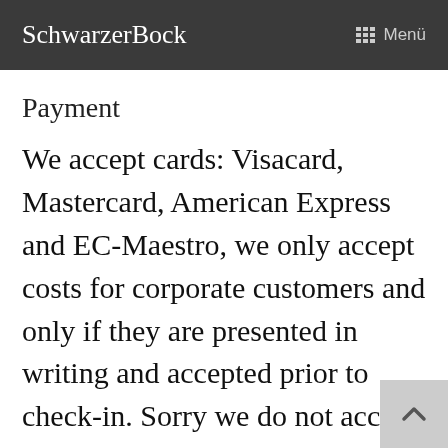SchwarzerBock  ☰  Menü
Payment
We accept cards: Visacard, Mastercard, American Express and EC-Maestro, we only accept costs for corporate customers and only if they are presented in writing and accepted prior to check-in. Sorry we do not accept foreigns currencies at all.